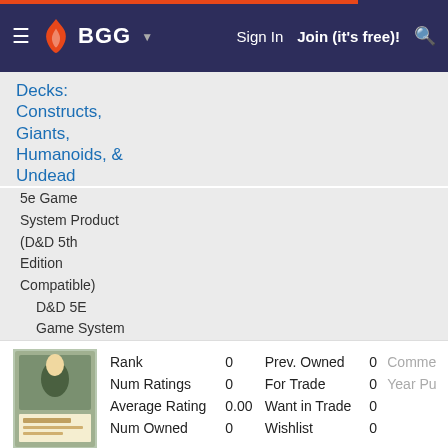BGG — Sign In   Join (it's free)!
Decks: Constructs, Giants, Humanoids, & Undead
5e Game System Product (D&D 5th Edition Compatible)
D&D 5E Game System
| Field | Value | Field | Value | Field |
| --- | --- | --- | --- | --- |
| Rank | 0 | Prev. Owned | 0 | Comme |
| Num Ratings | 0 | For Trade | 0 | Year Pu |
| Average Rating | 0.00 | Want in Trade | 0 |  |
| Num Owned | 0 | Wishlist | 0 |  |
5e Creature Decks: Dragons & Monstrosities
5e Game System Product (D&D 5th Edition Compatible)